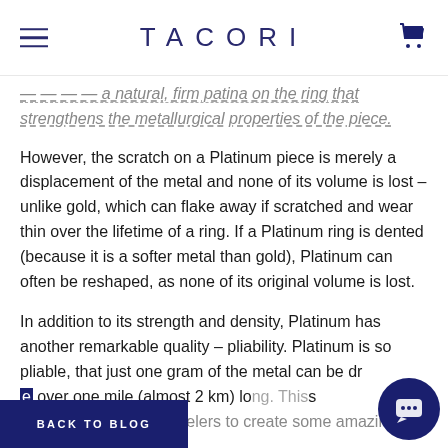TACORI
…actually create a natural, firm patina on the ring that strengthens the metallurgical properties of the piece.
However, the scratch on a Platinum piece is merely a displacement of the metal and none of its volume is lost – unlike gold, which can flake away if scratched and wear thin over the lifetime of a ring. If a Platinum ring is dented (because it is a softer metal than gold), Platinum can often be reshaped, as none of its original volume is lost.
In addition to its strength and density, Platinum has another remarkable quality – pliability. Platinum is so pliable, that just one gram of the metal can be drawn over one mile (almost 2 km) long. This quality has enabled jewelers to create some amazing